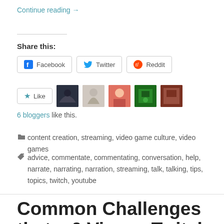Continue reading →
Share this:
[Figure (other): Social share buttons: Facebook, Twitter, Reddit]
[Figure (other): Like button and 6 blogger avatar icons]
6 bloggers like this.
content creation, streaming, video game culture, video games
advice, commentate, commentating, conversation, help, narrate, narrating, narration, streaming, talk, talking, tips, topics, twitch, youtube
Common Challenges that a 0 Viewer Twitch